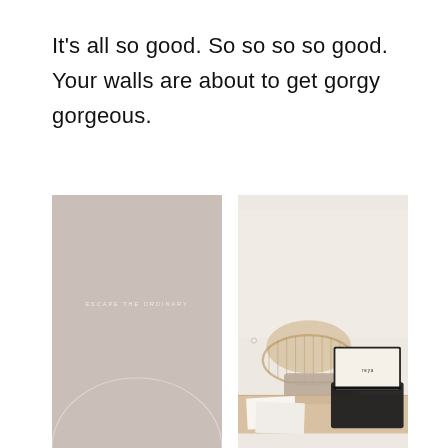It's all so good. So so so so good. Your walls are about to get gorgy gorgeous.
[Figure (illustration): Left image: a taupe/beige minimal poster design with text 'ESCAPE THE ORDINARY' and a large thin circle arc at the bottom.]
[Figure (photo): Right image: a styled desk scene with a rattan storage basket, a canvas pouch, a black laptop, and white papers on a light wood surface, against a soft cream wall.]